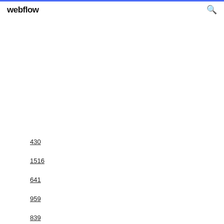webflow
430
1516
641
959
839
1110
1506